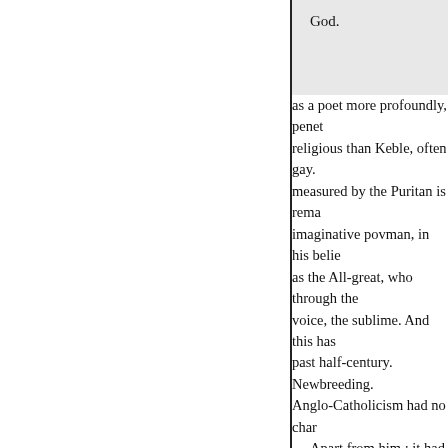God.
as a poet more profoundly, penet religious than Keble, often gay. measured by the Puritan is rema imaginative povman, in his belie as the All-great, who through the voice, the sublime. And this has past half-century. Newbreeding. Anglo-Catholicism had no char
Apart from him ; it had too lit remote from the beart of things, whole thought? Of all preachers, moved the mind and aspirations outworking of its ideas; had stud history, and Tracts were at their their toils with a rare love of rea sanctities, a to embody what he l Browning more than any man of the was a personality of rare cha the light, with a man inade us co we can transmute our ephem- an